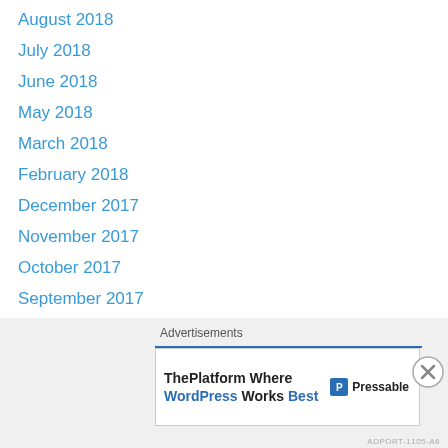August 2018
July 2018
June 2018
May 2018
March 2018
February 2018
December 2017
November 2017
October 2017
September 2017
August 2017
July 2017
June 2017
May 2017
April 2017
March 2017
February 2017
Advertisements
[Figure (other): Pressable advertisement banner: 'ThePlatform Where WordPress Works Best' with Pressable logo]